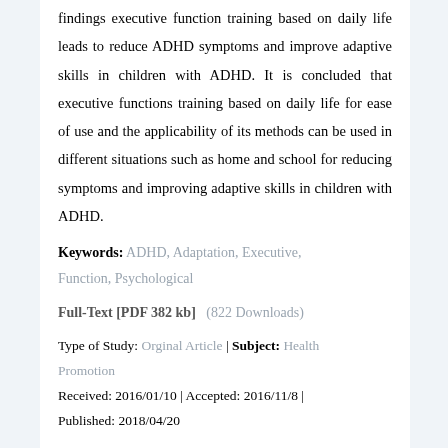findings executive function training based on daily life leads to reduce ADHD symptoms and improve adaptive skills in children with ADHD. It is concluded that executive functions training based on daily life for ease of use and the applicability of its methods can be used in different situations such as home and school for reducing symptoms and improving adaptive skills in children with ADHD.
Keywords: ADHD, Adaptation, Executive, Function, Psychological
Full-Text [PDF 382 kb]  (822 Downloads)
Type of Study: Orginal Article | Subject: Health Promotion
Received: 2016/01/10 | Accepted: 2016/11/8 | Published: 2018/04/20